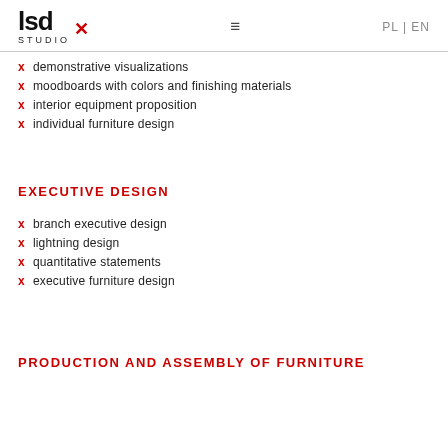lsd STUDIO [x] — PL | EN
demonstrative visualizations
moodboards with colors and finishing materials
interior equipment proposition
individual furniture design
EXECUTIVE DESIGN
branch executive design
lightning design
quantitative statements
executive furniture design
PRODUCTION AND ASSEMBLY OF FURNITURE